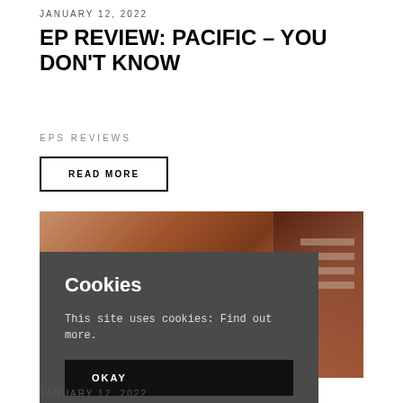JANUARY 12, 2022
EP REVIEW: PACIFIC – YOU DON'T KNOW
EPS REVIEWS
READ MORE
[Figure (photo): Partial view of a person with reddish-brown hair, vintage-style photo with warm tones]
Cookies
This site uses cookies: Find out more.
OKAY
JANUARY 12, 2022